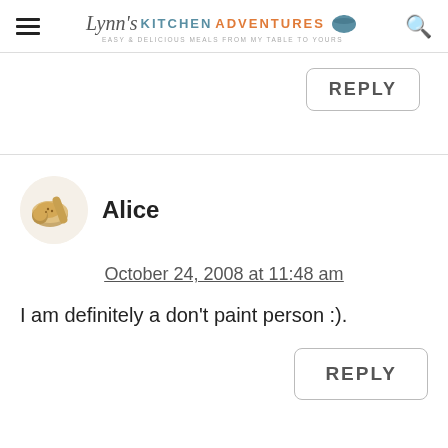Lynn's Kitchen Adventures — Easy & Delicious Meals From My Table To Yours
REPLY
Alice
October 24, 2008 at 11:48 am
I am definitely a don't paint person :).
REPLY